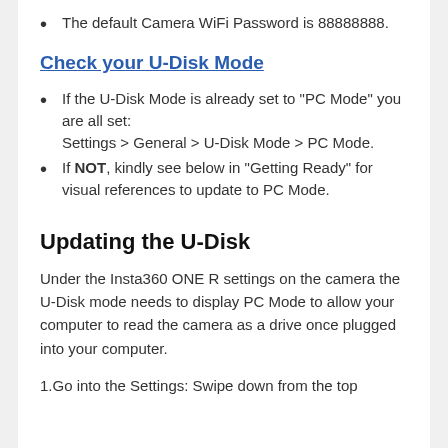The default Camera WiFi Password is 88888888.
Check your U-Disk Mode
If the U-Disk Mode is already set to "PC Mode" you are all set:
Settings > General > U-Disk Mode > PC Mode.
If NOT, kindly see below in "Getting Ready" for visual references to update to PC Mode.
Updating the U-Disk
Under the Insta360 ONE R settings on the camera the U-Disk mode needs to display PC Mode to allow your computer to read the camera as a drive once plugged into your computer.
1.Go into the Settings: Swipe down from the top